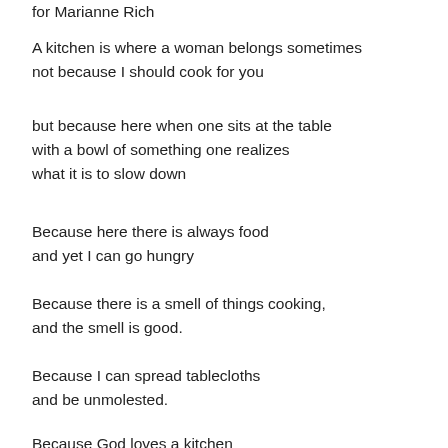for Marianne Rich
A kitchen is where a woman belongs sometimes
not because I should cook for you
but because here when one sits at the table
with a bowl of something one realizes
what it is to slow down
Because here there is always food
and yet I can go hungry
Because there is a smell of things cooking,
and the smell is good.
Because I can spread tablecloths
and be unmolested.
Because God loves a kitchen